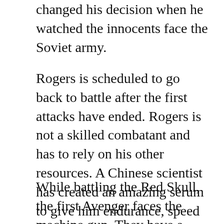changed his decision when he watched the innocents face the Soviet army.
Rogers is scheduled to go back to battle after the first attacks have ended. Rogers is not a skilled combatant and has to rely on his other resources. A Chinese scientist has created an amazing serum to give him endurance, speed and speed. This serum provides him with incredible power, speed and speed. This serum is the strongest weapon available.
While battling the Red Skull, the first Avenger faces the machine gun. They have a number of weapons and tanks, and one of them is controlled by of a huge robot. However, the hero manages to eliminate the gigantic tank. The result is a pursuit which includes the Red Skull himself. As they fight